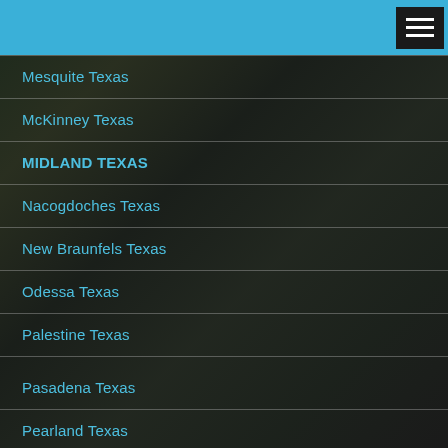Mesquite Texas
McKinney Texas
MIDLAND TEXAS
Nacogdoches Texas
New Braunfels Texas
Odessa Texas
Palestine Texas
Pasadena Texas
Pearland Texas
Plano Texas
Port Arthur Texas